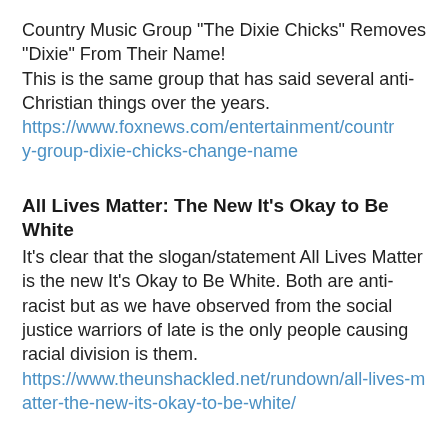Country Music Group "The Dixie Chicks" Removes "Dixie" From Their Name!
This is the same group that has said several anti-Christian things over the years.
https://www.foxnews.com/entertainment/country-group-dixie-chicks-change-name
All Lives Matter: The New It's Okay to Be White
It's clear that the slogan/statement All Lives Matter is the new It's Okay to Be White. Both are anti-racist but as we have observed from the social justice warriors of late is the only people causing racial division is them.
https://www.theunshackled.net/rundown/all-lives-matter-the-new-its-okay-to-be-white/
Appeals Court Orders Flynn Case Dismissal, After Years-Long Legal Saga